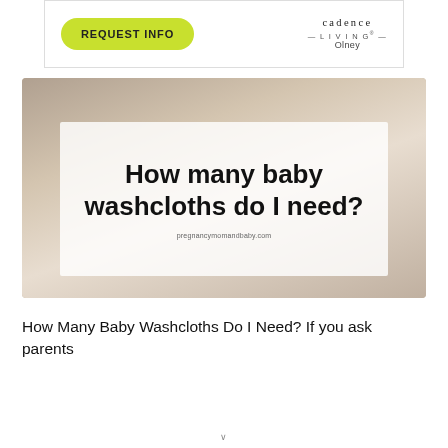[Figure (infographic): Advertisement banner for Cadence Living Olney with a green 'REQUEST INFO' button on the left and the Cadence Living logo on the right]
[Figure (photo): Hero image of a baby with a semi-transparent white overlay containing the article title 'How many baby washcloths do I need?' and the URL pregnancymomandbaby.com]
How Many Baby Washcloths Do I Need? If you ask parents